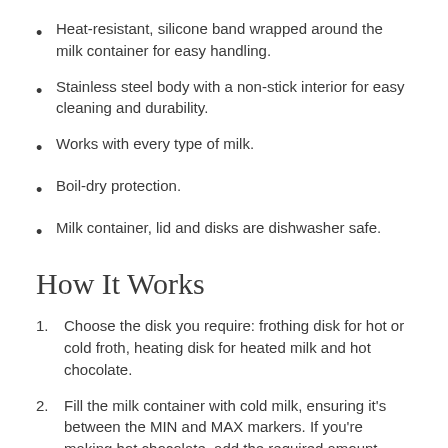Heat-resistant, silicone band wrapped around the milk container for easy handling.
Stainless steel body with a non-stick interior for easy cleaning and durability.
Works with every type of milk.
Boil-dry protection.
Milk container, lid and disks are dishwasher safe.
How It Works
Choose the disk you require: frothing disk for hot or cold froth, heating disk for heated milk and hot chocolate.
Fill the milk container with cold milk, ensuring it's between the MIN and MAX markers. If you're making hot chocolate, add the required amount – we